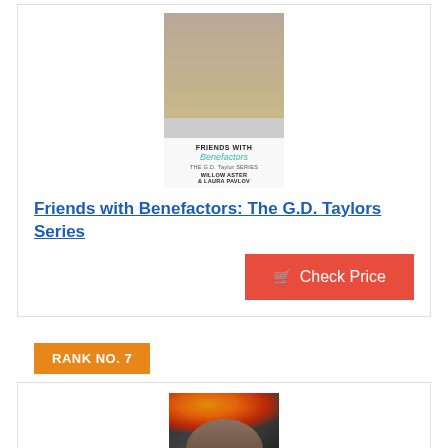[Figure (photo): Book cover of 'Friends with Benefactors: The G.D. Taylors Series' by Willow Aster and Laura Pavlov, showing a man's face and the book title in script font]
Friends with Benefactors: The G.D. Taylors Series
Check Price
RANK NO. 7
[Figure (photo): Book cover image showing a man's face with explosion or fire in the background, dark moody tones]